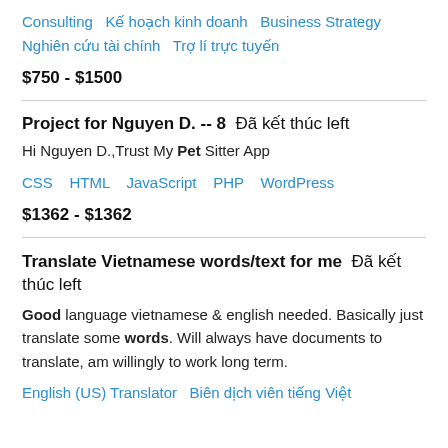Consulting   Kế hoạch kinh doanh   Business Strategy   Nghiên cứu tài chính   Trợ lí trực tuyến
$750 - $1500
Project for Nguyen D. -- 8  Đã kết thúc left
Hi Nguyen D.,Trust My Pet Sitter App
CSS   HTML   JavaScript   PHP   WordPress
$1362 - $1362
Translate Vietnamese words/text for me  Đã kết thúc left
Good language vietnamese & english needed. Basically just translate some words. Will always have documents to translate, am willingly to work long term.
English (US) Translator   Biên dịch viên tiếng Việt